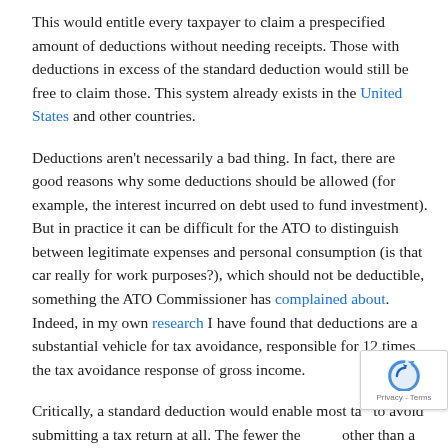This would entitle every taxpayer to claim a prespecified amount of deductions without needing receipts. Those with deductions in excess of the standard deduction would still be free to claim those. This system already exists in the United States and other countries.
Deductions aren't necessarily a bad thing. In fact, there are good reasons why some deductions should be allowed (for example, the interest incurred on debt used to fund investment). But in practice it can be difficult for the ATO to distinguish between legitimate expenses and personal consumption (is that car really for work purposes?), which should not be deductible, something the ATO Commissioner has complained about. Indeed, in my own research I have found that deductions are a substantial vehicle for tax avoidance, responsible for 12 times the tax avoidance response of gross income.
Critically, a standard deduction would enable most taxpayers to avoid submitting a tax return at all. The fewer the items other than a taxpayer's salary on their tax return, the easier